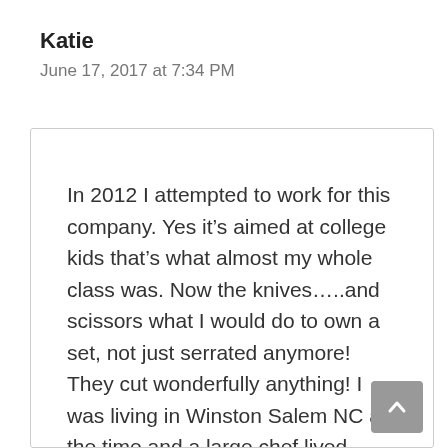Katie
June 17, 2017 at 7:34 PM
In 2012 I attempted to work for this company. Yes it’s aimed at college kids that’s what almost my whole class was. Now the knives…..and scissors what I would do to own a set, not just serrated anymore! They cut wonderfully anything! I was living in Winston Salem NC at the time and a large chef lived across the street I asked him could I show him a few things he was delighted with them!